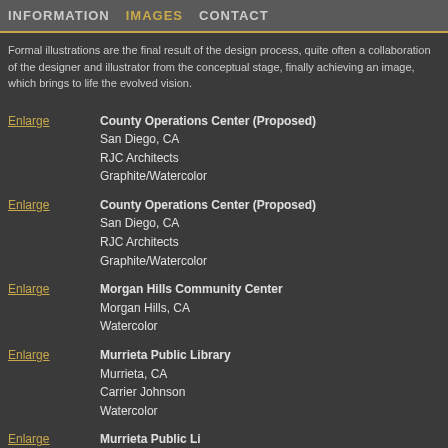INFORMATION  IMAGES  CONTACT
Formal illustrations are the final result of the design process, quite often a collaboration of the designer and illustrator from the conceptual stage, finally achieving an image, which brings to life the evolved vision.
Enlarge | County Operations Center (Proposed)
San Diego, CA
RJC Architects
Graphite/Watercolor
Enlarge | County Operations Center (Proposed)
San Diego, CA
RJC Architects
Graphite/Watercolor
Enlarge | Morgan Hills Community Center
Morgan Hills, CA
Watercolor
Enlarge | Murrieta Public Library
Murrieta, CA
Carrier Johnson
Watercolor
Enlarge | Murrieta Public Li...